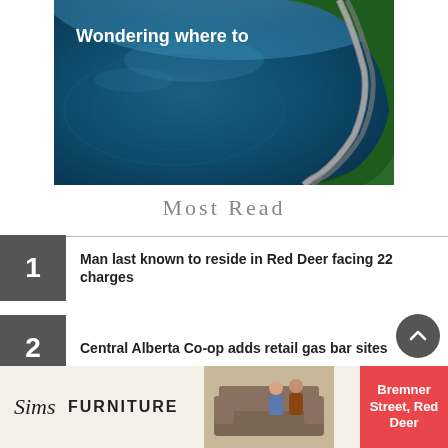[Figure (photo): Aerial view of a curving road beside a dark blue lake surrounded by dense green forest, with text overlay 'Wondering where to']
Most Read
1  Man last known to reside in Red Deer facing 22 charges
2  Central Alberta Co-op adds retail gas bar sites
[Figure (photo): Advertisement for Sims Furniture showing logo on left, photo of two people on a sofa in center, and red box with text 'Bremner Street, Red Deer' on right]